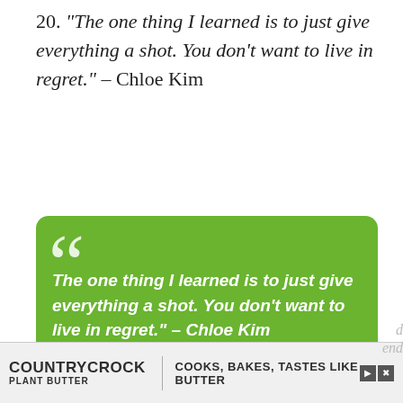20. “The one thing I learned is to just give everything a shot. You don’t want to live in regret.” – Chloe Kim
[Figure (illustration): Green rounded rectangle card with large white quotation marks and white bold italic text: The one thing I learned is to just give everything a shot. You don’t want to live in regret.” – Chloe Kim]
[Figure (infographic): Advertisement bar at bottom: Country Crock Plant Butter logo on left, tagline COOKS, BAKES, TASTES LIKE BUTTER]